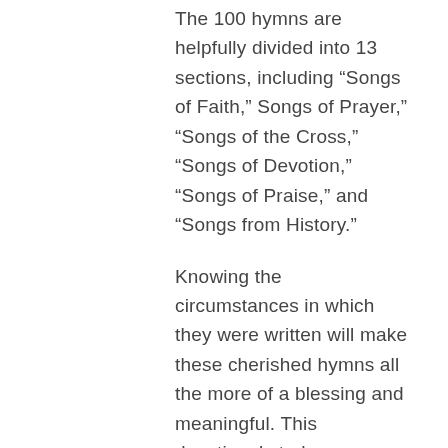The 100 hymns are helpfully divided into 13 sections, including “Songs of Faith,” Songs of Prayer,” “Songs of the Cross,” “Songs of Devotion,” “Songs of Praise,” and “Songs from History.”
Knowing the circumstances in which they were written will make these cherished hymns all the more of a blessing and meaningful. This devotional study assures the reader that God is the great Composer of the songs in the night seasons of our soul. When darkness overtakes us, as Job and the Psalmist affirmed long ago: “God gives a song in the night.”
This attractive hardback cover book is